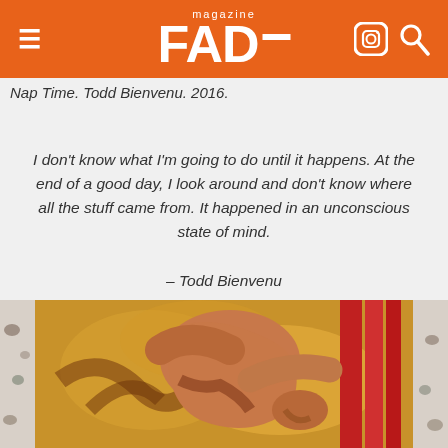FAD magazine
Nap Time. Todd Bienvenu. 2016.
I don’t know what I’m going to do until it happens. At the end of a good day, I look around and don’t know where all the stuff came from. It happened in an unconscious state of mind.

– Todd Bienvenu
[Figure (photo): Painting by Todd Bienvenu titled Nap Time (2016) showing a figure with warm orange, yellow and red tones, painted in an expressive style]